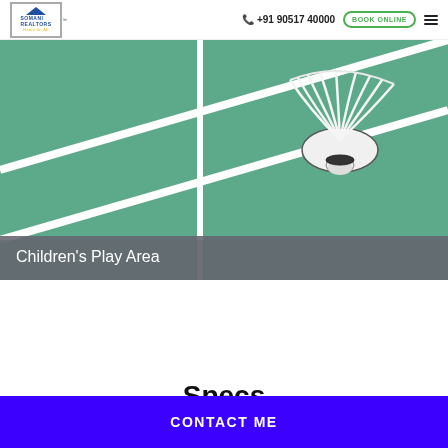SOMANI REALTORS | +91 90517 40000 | BOOK ONLINE
[Figure (photo): Badminton shuttlecock on a green badminton court with white boundary lines]
Children's Play Area
Specs
CONTACT ME